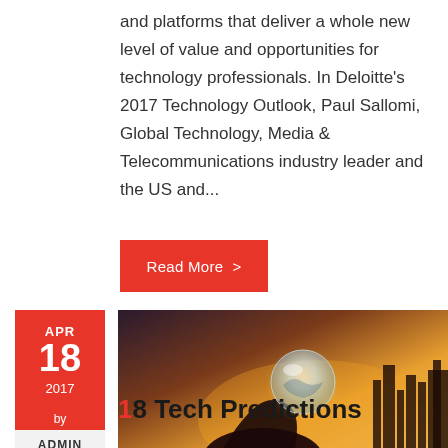and platforms that deliver a whole new level of value and opportunities for technology professionals. In Deloitte's 2017 Technology Outlook, Paul Sallomi, Global Technology, Media & Telecommunications industry leader and the US and...
Read More >
APR 18 2017 by ADMIN
[Figure (photo): Person holding a glowing crystal ball against a warm sunset skyline background]
18 Tech Predictions For 2017